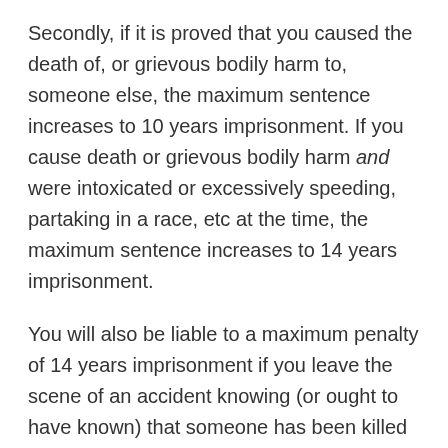Secondly, if it is proved that you caused the death of, or grievous bodily harm to, someone else, the maximum sentence increases to 10 years imprisonment. If you cause death or grievous bodily harm and were intoxicated or excessively speeding, partaking in a race, etc at the time, the maximum sentence increases to 14 years imprisonment.
You will also be liable to a maximum penalty of 14 years imprisonment if you leave the scene of an accident knowing (or ought to have known) that someone has been killed or injured. The only exception is if you leave the scene to seek help for the person injured (whether medical help or otherwise).
While the maximum sentences have been set out above, the courts still have the discretion to impose sentences less than imprisonment, such as probation, community